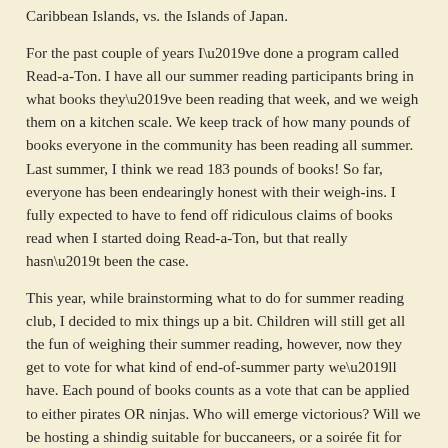Caribbean Islands, vs. the Islands of Japan.
For the past couple of years I’ve done a program called Read-a-Ton. I have all our summer reading participants bring in what books they’ve been reading that week, and we weigh them on a kitchen scale. We keep track of how many pounds of books everyone in the community has been reading all summer. Last summer, I think we read 183 pounds of books! So far, everyone has been endearingly honest with their weigh-ins. I fully expected to have to fend off ridiculous claims of books read when I started doing Read-a-Ton, but that really hasn’t been the case.
This year, while brainstorming what to do for summer reading club, I decided to mix things up a bit. Children will still get all the fun of weighing their summer reading, however, now they get to vote for what kind of end-of-summer party we’ll have. Each pound of books counts as a vote that can be applied to either pirates OR ninjas. Who will emerge victorious? Will we be hosting a shindig suitable for buccaneers, or a soirée fit for martial-arts masters? Only time, (and our young readers) will tell!